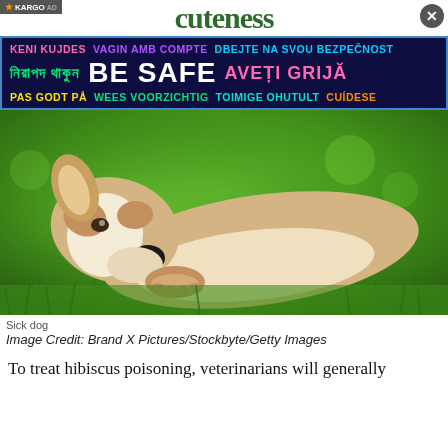cuteness
[Figure (infographic): Public safety ad banner with multilingual 'BE SAFE' messages on dark blue background]
[Figure (photo): A sick dog lying on its side on green grass, cream and tan colored dog with black nose visible, looking lethargic]
Sick dog
Image Credit: Brand X Pictures/Stockbyte/Getty Images
To treat hibiscus poisoning, veterinarians will generally